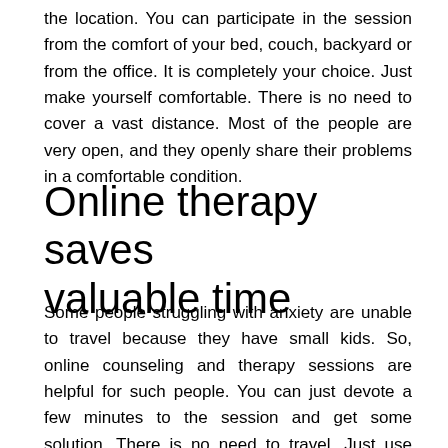the location. You can participate in the session from the comfort of your bed, couch, backyard or from the office. It is completely your choice. Just make yourself comfortable. There is no need to cover a vast distance. Most of the people are very open, and they openly share their problems in a comfortable condition.
Online therapy saves valuable time
Some people struggling with anxiety are unable to travel because they have small kids. So, online counseling and therapy sessions are helpful for such people. You can just devote a few minutes to the session and get some solution. There is no need to travel. Just use platforms like the e therapy pro and keep yourself healthy. It is equally important to take care of your mental health as